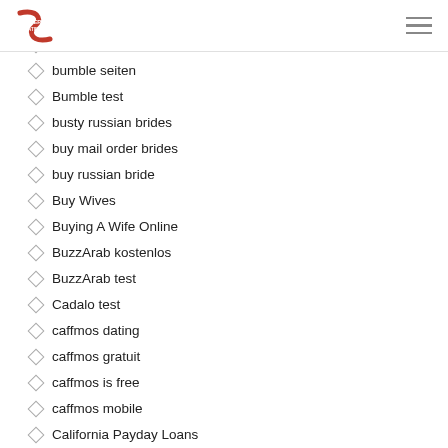Servi Atiende logo and navigation
Bumble review
Bumble reviews
bumble seiten
Bumble test
busty russian brides
buy mail order brides
buy russian bride
Buy Wives
Buying A Wife Online
BuzzArab kostenlos
BuzzArab test
Cadalo test
caffmos dating
caffmos gratuit
caffmos is free
caffmos mobile
California Payday Loans
California Payday Loans Near Me